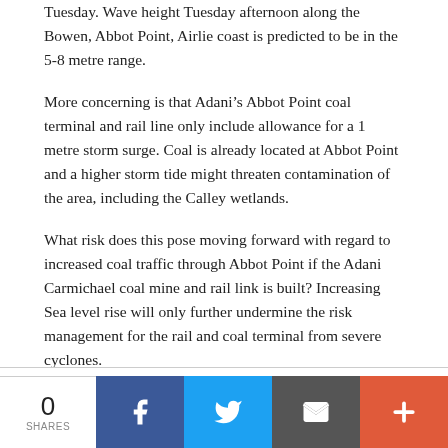Tuesday. Wave height Tuesday afternoon along the Bowen, Abbot Point, Airlie coast is predicted to be in the 5-8 metre range.
More concerning is that Adani's Abbot Point coal terminal and rail line only include allowance for a 1 metre storm surge. Coal is already located at Abbot Point and a higher storm tide might threaten contamination of the area, including the Calley wetlands.
What risk does this pose moving forward with regard to increased coal traffic through Abbot Point if the Adani Carmichael coal mine and rail link is built? Increasing Sea level rise will only further undermine the risk management for the rail and coal terminal from severe cyclones.
0 SHARES | Facebook | Twitter | Email | More